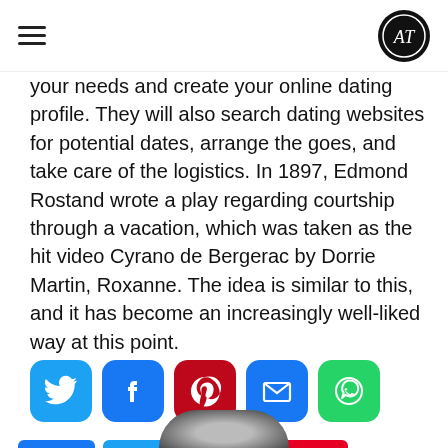AT logo and hamburger menu
your needs and create your online dating profile. They will also search dating websites for potential dates, arrange the goes, and take care of the logistics. In 1897, Edmond Rostand wrote a play regarding courtship through a vacation, which was taken as the hit video Cyrano de Bergerac by Dorrie Martin, Roxanne. The idea is similar to this, and it has become an increasingly well-liked way at this point.
[Figure (infographic): Row of five social media share buttons: Twitter (blue bird), Facebook (blue F), Pinterest (red P), Email (blue envelope), WhatsApp (green phone icon)]
[Figure (infographic): Share bar with four buttons: k (Facebook share, blue), t (Twitter share, light blue), in (LinkedIn, dark blue), p (Pinterest, red), share icon and count showing 0 SHARES]
[Figure (photo): Partial view of a black and white profile photo of a person at the bottom of the page]